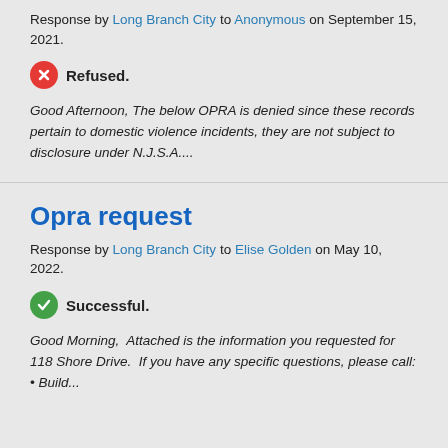Response by Long Branch City to Anonymous on September 15, 2021.
Refused.
Good Afternoon, The below OPRA is denied since these records pertain to domestic violence incidents, they are not subject to disclosure under N.J.S.A....
Opra request
Response by Long Branch City to Elise Golden on May 10, 2022.
Successful.
Good Morning,  Attached is the information you requested for 118 Shore Drive.  If you have any specific questions, please call: • Build...